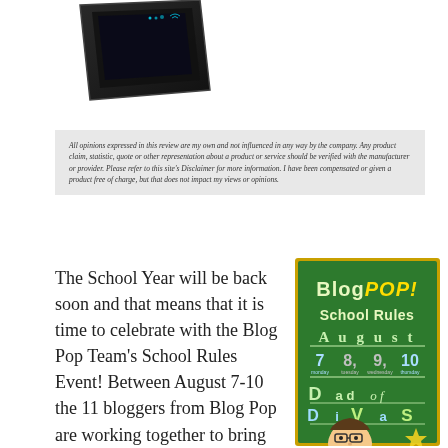[Figure (photo): A dark-colored tablet/smartphone device shown at an angle from above]
All opinions expressed in this review are my own and not influenced in any way by the company. Any product claim, statistic, quote or other representation about a product or service should be verified with the manufacturer or provider. Please refer to this site's Disclaimer for more information. I have been compensated or given a product free of charge, but that does not impact my views or opinions.
The School Year will be back soon and that means that it is time to celebrate with the Blog Pop Team's School Rules Event! Between August 7-10 the 11 bloggers from Blog Pop are working together to bring
[Figure (illustration): BlogPOP! School Rules event graphic on a green chalkboard background. Text reads: BlogPOP! School Rules August 7, 8, 9, 10 - Dad of Divas. Features cartoon character of a man with glasses and a star.]